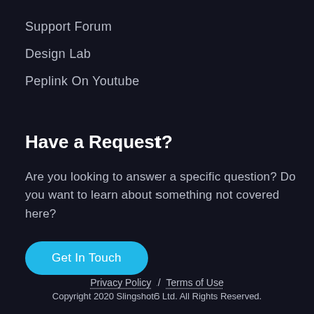Support Forum
Design Lab
Peplink On Youtube
Have a Request?
Are you looking to answer a specific question? Do you want to learn about something not covered here?
Get In Touch
Privacy Policy / Terms of Use
Copyright 2020 Slingshot6 Ltd. All Rights Reserved.